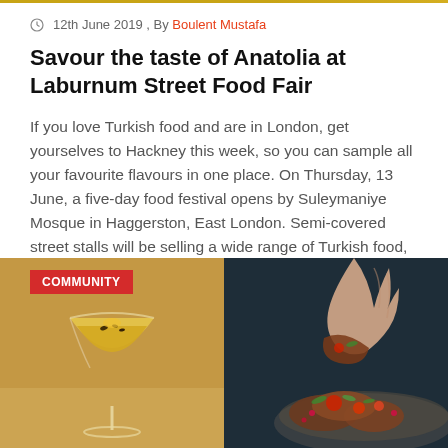12th June 2019 , By Boulent Mustafa
Savour the taste of Anatolia at Laburnum Street Food Fair
If you love Turkish food and are in London, get yourselves to Hackney this week, so you can sample all your favourite flavours in one place. On Thursday, 13 June, a five-day food festival opens by Suleymaniye Mosque in Haggerston, East London. Semi-covered street stalls will be selling a wide range of Turkish food, including [...]
[Figure (photo): Two food/drink photos side by side: left shows a golden cocktail in a coupe glass with dark garnish, right shows a hand holding a piece of meat/kebab over a plate with red and green garnishes, on a dark blue background. A red 'COMMUNITY' badge overlays the top-left corner.]